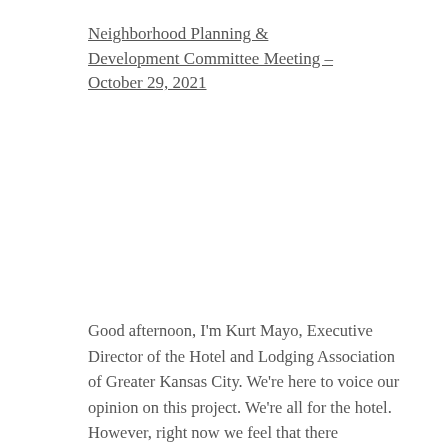Neighborhood Planning & Development Committee Meeting – October 29, 2021
Good afternoon, I'm Kurt Mayo, Executive Director of the Hotel and Lodging Association of Greater Kansas City. We're here to voice our opinion on this project. We're all for the hotel. However, right now we feel that there